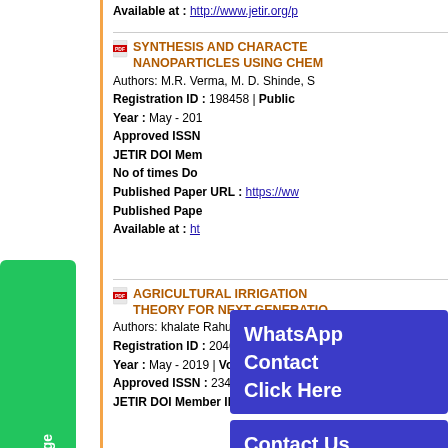Available at : http://www.jetir.org/p
SYNTHESIS AND CHARACTE... NANOPARTICLES USING CHEM...
Authors: M.R. Verma, M. D. Shinde, S...
Registration ID : 198458 | Public...
Year : May - 201...
Approved ISSN...
JETIR DOI Mem...
No of times Do...
Published Paper URL : https://ww...
Published Pape...
Available at : ht...
AGRICULTURAL IRRIGATION... THEORY FOR NEXT GENERATIO...
Authors: khalate Rahul Dattatray
Registration ID : 204642 | Public...
Year : May - 2019 | Volume: 6 | Is...
Approved ISSN : 2349-5162 | Co...
JETIR DOI Member ID: 10.6084/p...